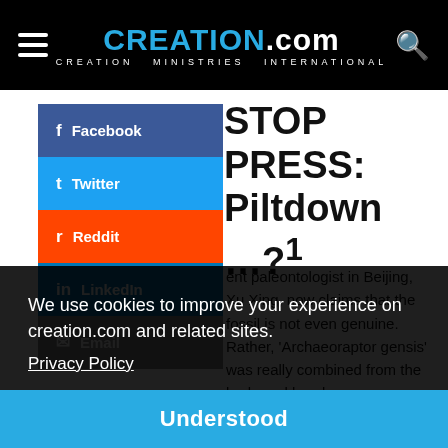CREATION.com — CREATION MINISTRIES INTERNATIONAL
STOP PRESS: Piltdown …?¹
ent paleontologist in Beijing, Xu Xing, now claims that the fossil is not even genuine. Rather, 'Archaeoraptor gensis' was really combined from the body and head … r. Dr … ntains … or.
We use cookies to improve your experience on creation.com and related sites. Privacy Policy
Understood
out, sometimes blocks of fossils are matched together